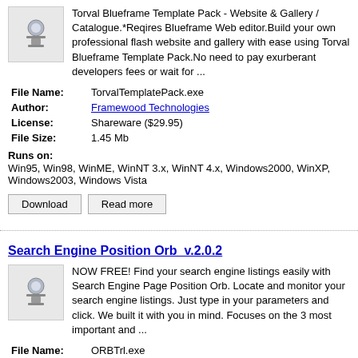Torval Blueframe Template Pack - Website & Gallery / Catalogue.*Reqires Blueframe Web editor.Build your own professional flash website and gallery with ease using Torval Blueframe Template Pack.No need to pay exurberant developers fees or wait for ...
File Name: TorvalTemplatePack.exe
Author: Framewood Technologies
License: Shareware ($29.95)
File Size: 1.45 Mb
Runs on: Win95, Win98, WinME, WinNT 3.x, WinNT 4.x, Windows2000, WinXP, Windows2003, Windows Vista
Search Engine Position Orb  v.2.0.2
NOW FREE! Find your search engine listings easily with Search Engine Page Position Orb. Locate and monitor your search engine listings. Just type in your parameters and click. We built it with you in mind. Focuses on the 3 most important and ...
File Name: ORBTrl.exe
Author: Framewood Technologies
License: Shareware ($)
File Size: 8.08 Mb